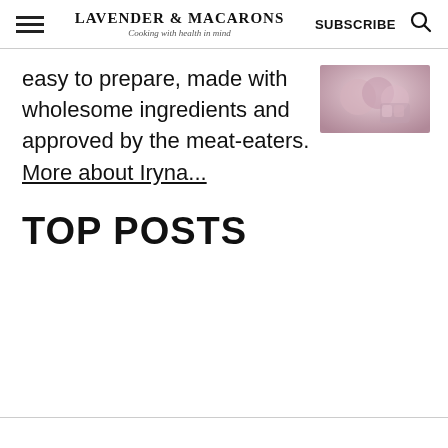LAVENDER & MACARONS — Cooking with health in mind — SUBSCRIBE
easy to prepare, made with wholesome ingredients and approved by the meat-eaters. More about Iryna...
[Figure (photo): Small thumbnail photo of food items with pinkish/floral tones]
TOP POSTS